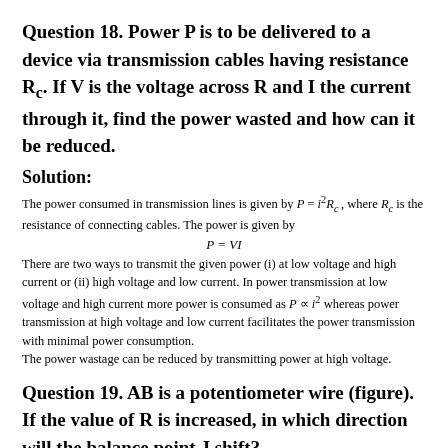Question 18. Power P is to be delivered to a device via transmission cables having resistance R_c. If V is the voltage across R and I the current through it, find the power wasted and how can it be reduced.
Solution:
The power consumed in transmission lines is given by P = i²R_c, where R_c is the resistance of connecting cables. The power is given by
There are two ways to transmit the given power (i) at low voltage and high current or (ii) high voltage and low current. In power transmission at low voltage and high current more power is consumed as P ∝ i² whereas power transmission at high voltage and low current facilitates the power transmission with minimal power consumption.
The power wastage can be reduced by transmitting power at high voltage.
Question 19. AB is a potentiometer wire (figure). If the value of R is increased, in which direction will the balance point J shift?
[Figure (engineering-diagram): Circuit diagram showing a battery E, a circle (galvanometer or cell), and a resistor R connected in series, forming a potentiometer circuit.]